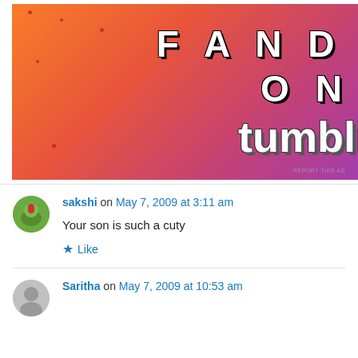[Figure (photo): Tumblr advertisement banner with orange-to-purple gradient background, white doodles (sailboat, skull, music notes, spider, leaves, diamond shapes), and text reading 'FANDOM ON tumblr' in bold white/black lettering. Bottom right has 'REPORT THIS AD' text.]
sakshi on May 7, 2009 at 3:11 am
Your son is such a cuty
Like
Saritha on May 7, 2009 at 10:53 am